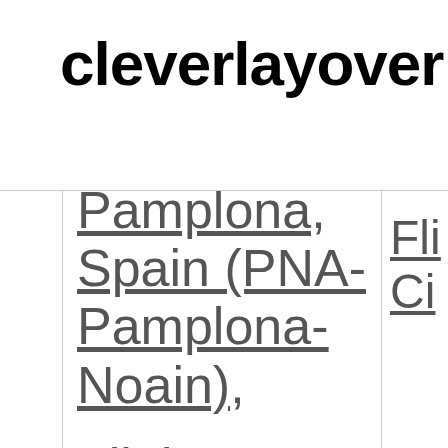cleverlayover
Pamplona, Spain (PNA-Pamplona-Noain),
Flights to Punta
Fli Ci
Fli Pa